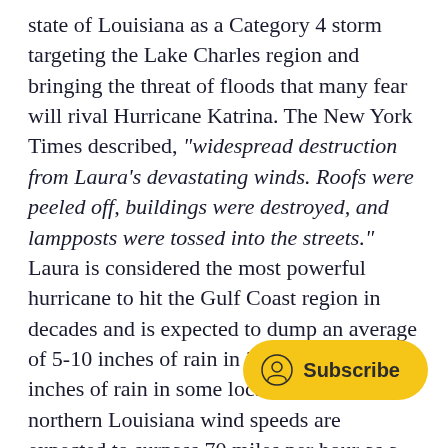state of Louisiana as a Category 4 storm targeting the Lake Charles region and bringing the threat of floods that many fear will rival Hurricane Katrina. The New York Times described, "widespread destruction from Laura's devastating winds. Roofs were peeled off, buildings were destroyed, and lampposts were tossed into the streets." Laura is considered the most powerful hurricane to hit the Gulf Coast region in decades and is expected to dump an average of 5-10 inches of rain in just hours with 18 inches of rain in some local areas. In northern Louisiana wind speeds are expected to surpass 70 miles per hour as a tornado watch remained in effect. Hurrica... heads to the state of Arkansas m... expected to calm down to a tropical storm by